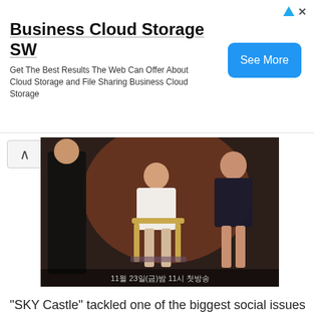[Figure (other): Advertisement banner for Business Cloud Storage SW with a blue See More button and ad icons]
[Figure (photo): Korean drama SKY Castle promotional poster showing three women, one seated in a gold chair, with Korean text at the bottom]
“SKY Castle” tackled one of the biggest social issues in the Korean society: education. Education in Korea is… let’s just say a mess for a lack of better words. With so much pressure and stress going to kids